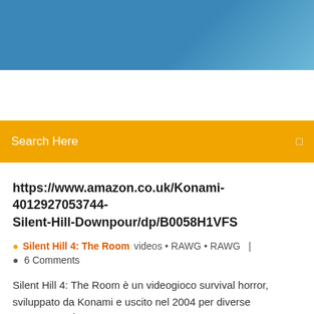[Figure (other): Blue gradient header banner at the top of a webpage screenshot]
Search Here
https://www.amazon.co.uk/Konami-4012927053744-Silent-Hill-Downpour/dp/B0058H1VFS
Silent Hill 4: The Room videos • RAWG • RAWG | 6 Comments
Silent Hill 4: The Room è un videogioco survival horror, sviluppato da Konami e uscito nel 2004 per diverse piattaforme. È il quarto capitolo della serie Silent Hill.